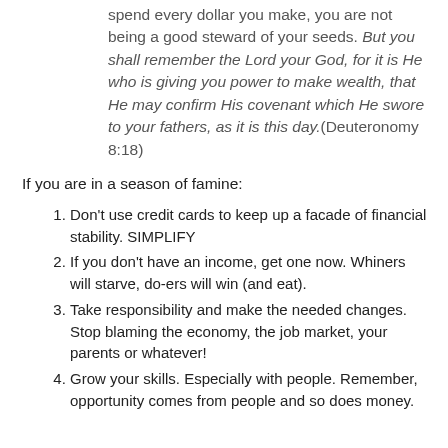spend every dollar you make, you are not being a good steward of your seeds. But you shall remember the Lord your God, for it is He who is giving you power to make wealth, that He may confirm His covenant which He swore to your fathers, as it is this day.(Deuteronomy 8:18)
If you are in a season of famine:
Don't use credit cards to keep up a facade of financial stability. SIMPLIFY
If you don't have an income, get one now. Whiners will starve, do-ers will win (and eat).
Take responsibility and make the needed changes. Stop blaming the economy, the job market, your parents or whatever!
Grow your skills. Especially with people. Remember, opportunity comes from people and so does money.